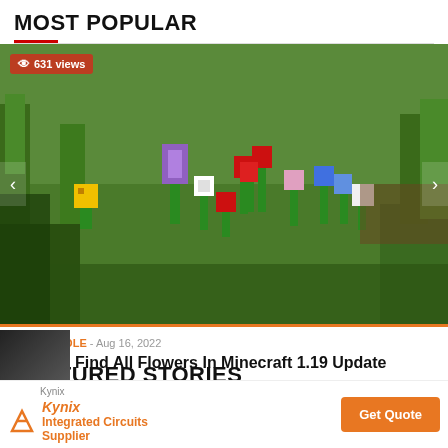MOST POPULAR
[Figure (screenshot): Minecraft screenshot showing colorful flowers (yellow, purple, red, blue, white) on a green blocky landscape with grass and trees in the background. Shows 631 views badge in top left, navigation arrows on sides.]
PC/CONSOLE - Aug 16, 2022
How To Find All Flowers In Minecraft 1.19 Update
FEATURED STORIES
[Figure (screenshot): Partial thumbnail image visible at bottom left, dark tones.]
Kynix
Kynix Integrated Circuits Supplier
Get Quote
22